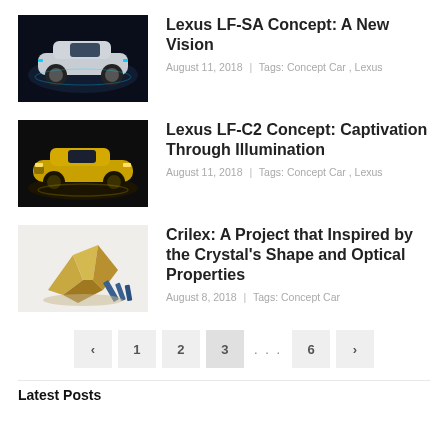[Figure (photo): Silver Lexus LF-SA Concept car on dark background with blue lighting]
Lexus LF-SA Concept: A New Vision
August 11, 2018 | Tags: Concept Car , Lexus
[Figure (photo): Gold/yellow Lexus LF-C2 Concept car on dark background]
Lexus LF-C2 Concept: Captivation Through Illumination
August 11, 2018 | Tags: Concept Car , Lexus
[Figure (photo): Gold angular crystal-inspired design objects - Crilex project]
Crilex: A Project that Inspired by the Crystal's Shape and Optical Properties
August 8, 2018 | Tags: Concept Car
‹ 1 2 3 ... 6 ›
Latest Posts